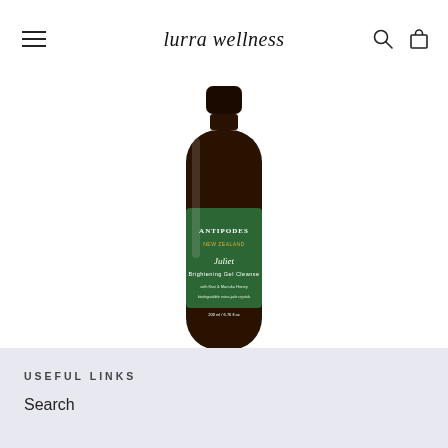lurra wellness
[Figure (photo): Dark brown glass bottle of Antipodes Juliet Skin Brightening Gel Cleanser with a green label, displayed on a white background.]
JULIET SKIN - BRIGHTENING GEL CLEANSER
$37  $49.99
USEFUL LINKS
Search